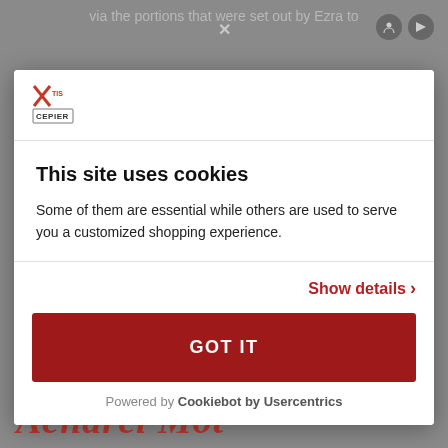via the portions that were set out by Ezra to
[Figure (logo): Xtis Cepier logo - stylized X with Hebrew-style text]
This site uses cookies
Some of them are essential while others are used to serve you a customized shopping experience.
Show details ›
GOT IT
Powered by Cookiebot by Usercentrics
Acharel Mot